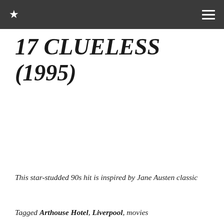★  ≡
17 CLUELESS (1995)
This star-studded 90s hit is inspired by Jane Austen classic
Tagged Arthouse Hotel, Liverpool, movies